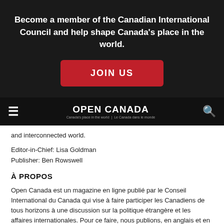Become a member of the Canadian International Council and help shape Canada's place in the world.
JOIN US
[Figure (logo): Open Canada logo with tagline: Canada's place in the world | Le Canada dans le monde]
and interconnected world.
Editor-in-Chief: Lisa Goldman
Publisher: Ben Rowswell
À PROPOS
Open Canada est un magazine en ligne publié par le Conseil International du Canada qui vise à faire participer les Canadiens de tous horizons à une discussion sur la politique étrangère et les affaires internationales. Pour ce faire, nous publions, en anglais et en français, des analyses, des commentaires, des reportages et des histoires personnelles qui susciteront le débat et encourageront les Canadiens à s'impliquer pour façonner notre monde toujours plus